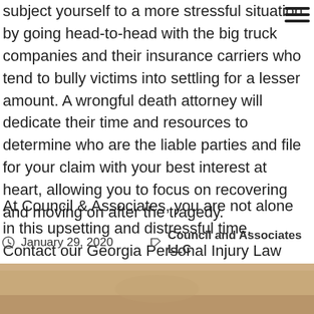subject yourself to a more stressful situation by going head-to-head with the big truck companies and their insurance carriers who tend to bully victims into settling for a lesser amount. A wrongful death attorney will dedicate their time and resources to determine who are the liable parties and file for your claim with your best interest at heart, allowing you to focus on recovering and moving on after the tragedy.
At Council & Associates, you are not alone in this upsetting and distressful time. Contact our Georgia Personal Injury Law firm today at (404)562-8857 and find out how we can help you. We offer a free client consultation to assess the issues in your case.
January 29, 2020    Council and Associates LLC
[Figure (photo): Bottom strip of a photo, showing a warm tan/brown background, partially visible]